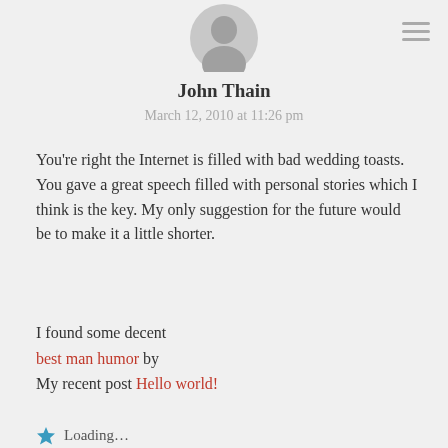[Figure (illustration): Gray circular avatar/profile picture placeholder icon]
John Thain
March 12, 2010 at 11:26 pm
You're right the Internet is filled with bad wedding toasts. You gave a great speech filled with personal stories which I think is the key. My only suggestion for the future would be to make it a little shorter.
I found some decent best man humor by
My recent post Hello world!
Loading...
Reply
Leave a Reply